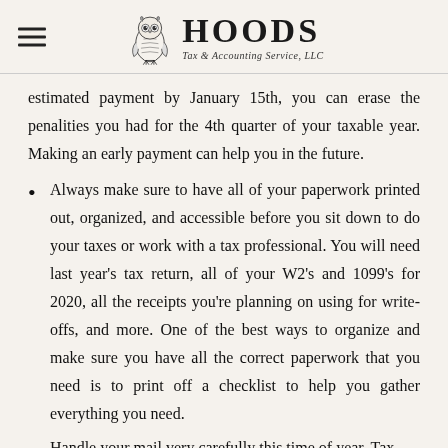HOODS Tax & Accounting Service, LLC
estimated payment by January 15th, you can erase the penalities you had for the 4th quarter of your taxable year. Making an early payment can help you in the future.
Always make sure to have all of your paperwork printed out, organized, and accessible before you sit down to do your taxes or work with a tax professional. You will need last year's tax return, all of your W2's and 1099's for 2020, all the receipts you're planning on using for write-offs, and more. One of the best ways to organize and make sure you have all the correct paperwork that you need is to print off a checklist to help you gather everything you need.
Handle your mail very carefully this time of year. Tax